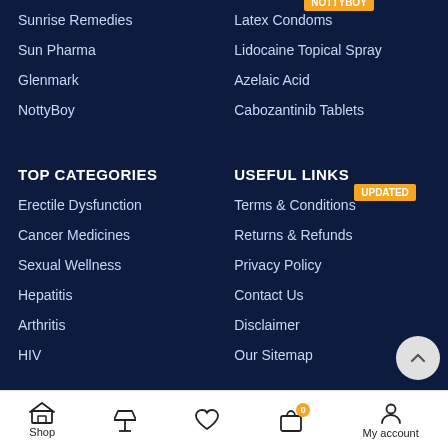Sunrise Remedies
Latex Condoms
Sun Pharma
Lidocaine Topical Spray
Glenmark
Azelaic Acid
NottyBoy
Cabozantinib Tablets
TOP CATEGORIES
USEFUL LINKS
Erectile Dysfunction
Terms & Conditions
Cancer Medicines
Returns & Refunds
Sexual Wellness
Privacy Policy
Hepatitis
Contact Us
Arthritis
Disclaimer
HIV
Our Sitemap
Shop | Filter | Wishlist | Cart (0) | My account